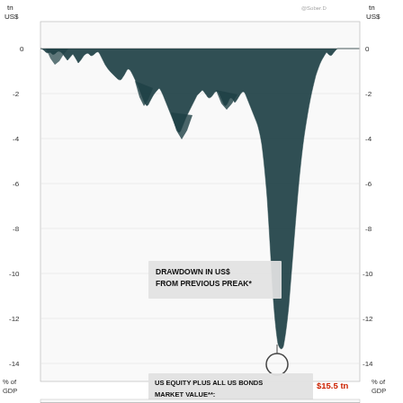[Figure (continuous-plot): Two-panel continuous area/line chart showing drawdown from previous peak. Top panel: drawdown in trillions of US dollars (y-axis: 0 to -14), with a notable trough annotated at $15.5 tn. Bottom panel: drawdown as % of GDP (y-axis: 0 to -10+). Both panels show dense waveform-like negative drawdown data over time. A label box reads 'DRAWDOWN IN US$ FROM PREVIOUS PREAK*' and 'US EQUITY PLUS ALL US BONDS MARKET VALUE**:' with value '$15.5 tn' in red. Y-axes labeled in tn US$ on both sides (top panel) and % of GDP on both sides (bottom panel).]